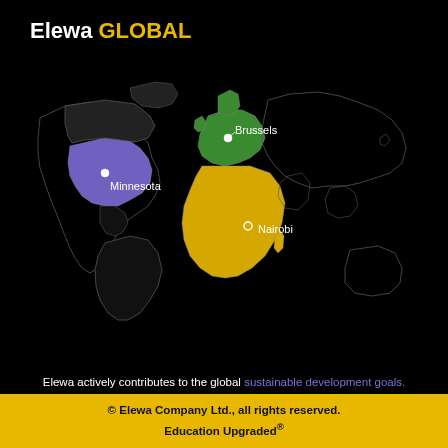Elewa GLOBAL
[Figure (map): World map on black background with three highlighted regions: purple/violet for Minnesota (USA), green for Brussels (Europe), and yellow/gold for Nairobi (Africa). Each location is marked with a dot and labeled.]
Elewa actively contributes to the global sustainable development goals.
© Elewa Company Ltd., all rights reserved. Education Upgraded®